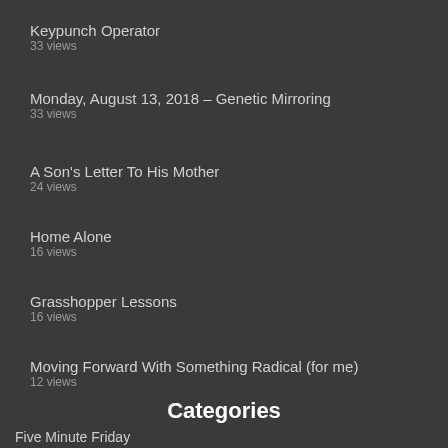Keypunch Operator
33 views
Monday, August 13, 2018 – Genetic Mirroring
33 views
A Son's Letter To His Mother
24 views
Home Alone
16 views
Grasshopper Lessons
16 views
Moving Forward With Something Radical (for me)
12 views
Categories
Five Minute Friday